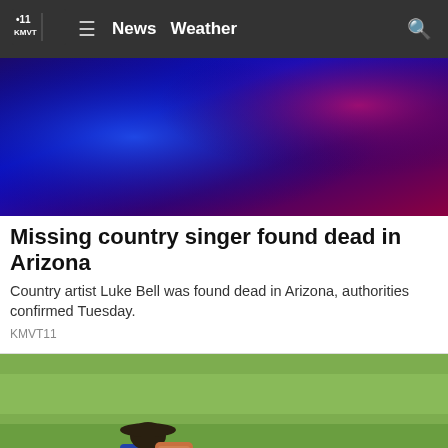KMVT .11 News Weather [search]
[Figure (photo): Abstract blue and red/purple gradient image used as article hero image]
Missing country singer found dead in Arizona
Country artist Luke Bell was found dead in Arizona, authorities confirmed Tuesday.
KMVT11
[Figure (photo): Person wearing a wide-brimmed hat and carrying a pesticide/herbicide backpack sprayer, walking through a green grass field]